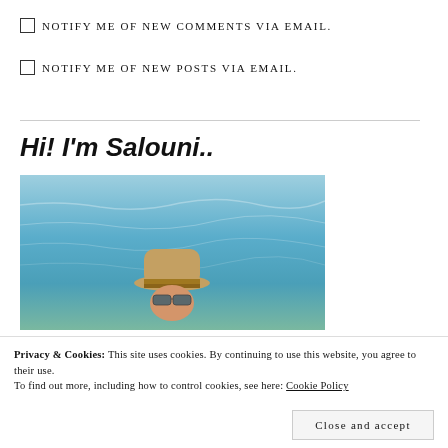☐ NOTIFY ME OF NEW COMMENTS VIA EMAIL.
☐ NOTIFY ME OF NEW POSTS VIA EMAIL.
Hi! I'm Salouni..
[Figure (photo): Person wearing a bucket hat and sunglasses, partially submerged in turquoise ocean water]
Privacy & Cookies: This site uses cookies. By continuing to use this website, you agree to their use. To find out more, including how to control cookies, see here: Cookie Policy
Close and accept